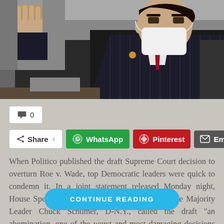[Figure (photo): A man in a dark suit with a red tie and a face mask partially visible, raising his hand at what appears to be a congressional hearing or official government setting.]
💬 0
Share  WhatsApp  Pinterest  Email
When Politico published the draft Supreme Court decision to overturn Roe v. Wade, top Democratic leaders were quick to condemn it. In a joint statement released Monday night, House Speaker Nancy Pelosi, D-Calif., and Senate Majority Leader Chuck Schumer, D-N.Y., called the draft "an abomination, one of the worst and most damaging decisions in modern history" and stated that the court has...
CONTINUE READING